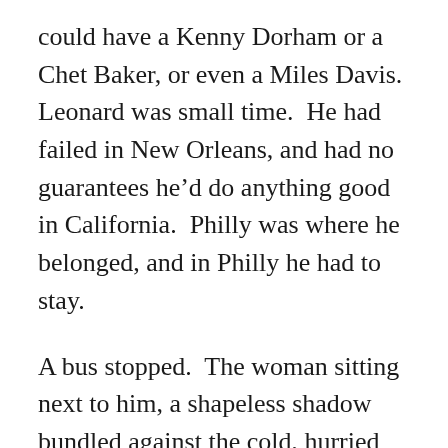could have a Kenny Dorham or a Chet Baker, or even a Miles Davis.  Leonard was small time.  He had failed in New Orleans, and had no guarantees he'd do anything good in California.  Philly was where he belonged, and in Philly he had to stay.

A bus stopped.  The woman sitting next to him, a shapeless shadow bundled against the cold, hurried towards the open door.  She paused and looked back, and in the warm inviting light spilling from the bus he saw Billie's cocoa skin and aquiline nose.  Soft trumpet emanated from within the bus, a